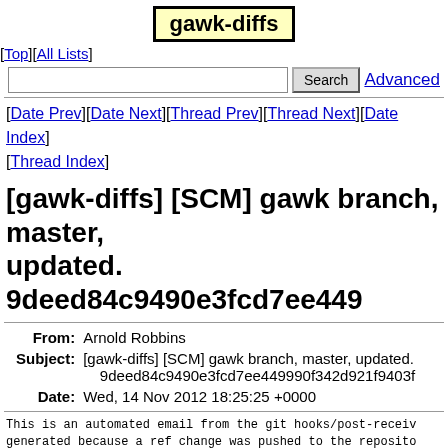gawk-diffs
[Top][All Lists]
Search  Advanced
[Date Prev][Date Next][Thread Prev][Thread Next][Date Index][Thread Index]
[gawk-diffs] [SCM] gawk branch, master, updated. 9deed84c9490e3fcd7ee449
| Field | Value |
| --- | --- |
| From | Arnold Robbins |
| Subject | [gawk-diffs] [SCM] gawk branch, master, updated. 9deed84c9490e3fcd7ee449990f342d921f9403f |
| Date | Wed, 14 Nov 2012 18:25:25 +0000 |
This is an automated email from the git hooks/post-receive
generated because a ref change was pushed to the repository containing
the project "gawk".

The branch, master has been updated
       via  9deed84c9490e3fcd7ee449990f342d921f9403f (com
      from  df1abb8c0d0b5855af8bb78ecf87f3511807905d  (com